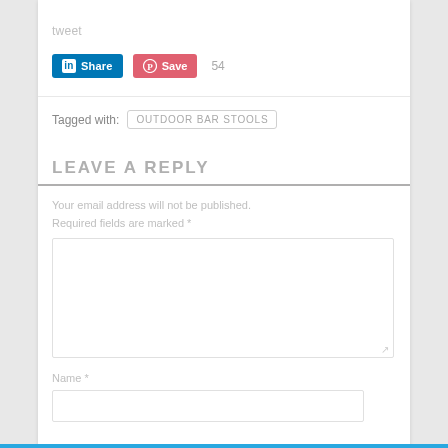tweet
[Figure (screenshot): LinkedIn Share button (blue) and Pinterest Save button (pink) with count 54]
Tagged with: OUTDOOR BAR STOOLS
LEAVE A REPLY
Your email address will not be published. Required fields are marked *
Name *